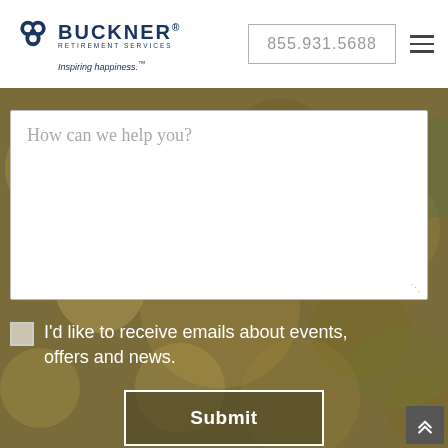[Figure (logo): Buckner Retirement Services logo with trefoil icon, 'BUCKNER.' text, 'RETIREMENT SERVICES' subtitle, and 'Inspiring happiness.' tagline in navy blue]
855.931.5688
[Figure (screenshot): Blurred bokeh background with golden/olive tones for the lower section of the page]
How can we help you?
I'd like to receive emails about events, offers and news.
Submit